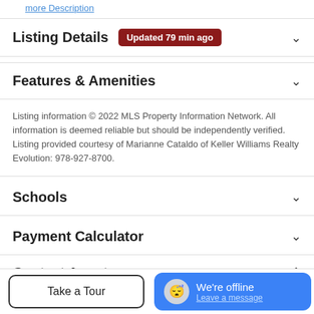more Description
Listing Details  Updated 79 min ago
Features & Amenities
Listing information © 2022 MLS Property Information Network. All information is deemed reliable but should be independently verified. Listing provided courtesy of Marianne Cataldo of Keller Williams Realty Evolution: 978-927-8700.
Schools
Payment Calculator
Contact Agent
Take a Tour
We're offline  Leave a message